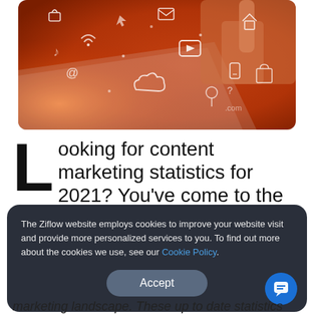[Figure (photo): A hand touching a digital tablet with white icons of digital media, social media, email, lock, home, and other symbols floating above it on an orange-toned background.]
Looking for content marketing statistics for 2021? You've come to the right place.
The Ziflow website employs cookies to improve your website visit and provide more personalized services to you. To find out more about the cookies we use, see our Cookie Policy.
Accept
marketing landscape. These up to date statistics